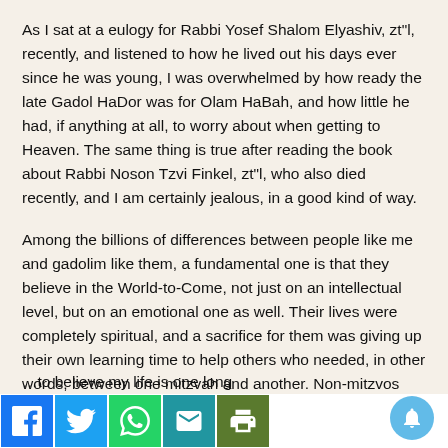As I sat at a eulogy for Rabbi Yosef Shalom Elyashiv, zt"l, recently, and listened to how he lived out his days ever since he was young, I was overwhelmed by how ready the late Gadol HaDor was for Olam HaBah, and how little he had, if anything at all, to worry about when getting to Heaven. The same thing is true after reading the book about Rabbi Noson Tzvi Finkel, zt"l, who also died recently, and I am certainly jealous, in a good kind of way.
Among the billions of differences between people like me and gadolim like them, a fundamental one is that they believe in the World-to-Come, not just on an intellectual level, but on an emotional one as well. Their lives were completely spiritual, and a sacrifice for them was giving up their own learning time to help others who needed, in other words, between one mitzvah and another. Non-mitzvos were never part of the calculation of how they spent their time and energy.
…to believe my life is one long